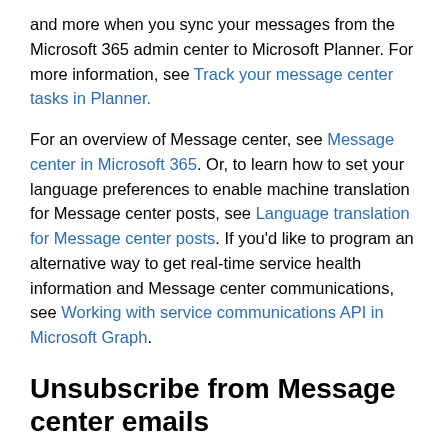and more when you sync your messages from the Microsoft 365 admin center to Microsoft Planner. For more information, see Track your message center tasks in Planner.
For an overview of Message center, see Message center in Microsoft 365. Or, to learn how to set your language preferences to enable machine translation for Message center posts, see Language translation for Message center posts. If you'd like to program an alternative way to get real-time service health information and Message center communications, see Working with service communications API in Microsoft Graph.
Unsubscribe from Message center emails
Digest emails are turned on by default and are sent to your primary email address. To stop receiving the